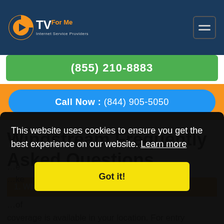CTVForMe - Internet Service Providers
(855) 210-8883
Call Now : (844) 905-5050
Windstream Frequently Asked Questions
1. What is the best Windstream internet
coverage is available in your location. For entry
This website uses cookies to ensure you get the best experience on our website. Learn more
Got it!